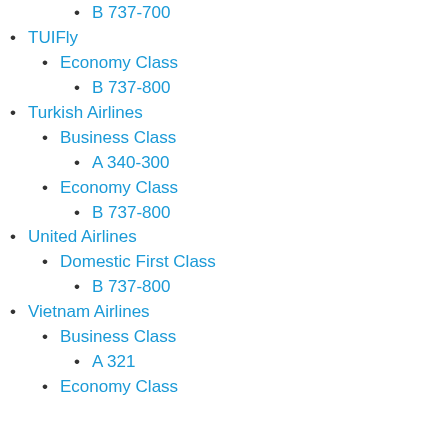B 737-700
TUIFly
Economy Class
B 737-800
Turkish Airlines
Business Class
A 340-300
Economy Class
B 737-800
United Airlines
Domestic First Class
B 737-800
Vietnam Airlines
Business Class
A 321
Economy Class